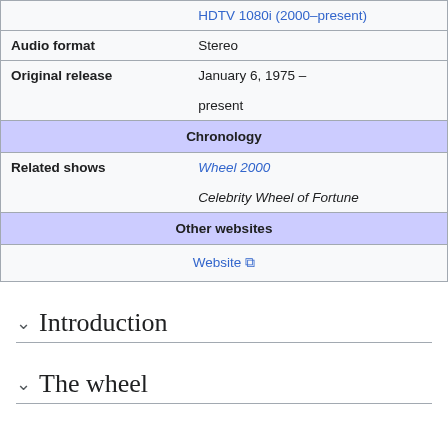|  | HDTV 1080i (2000–present) |
| Audio format | Stereo |
| Original release | January 6, 1975 – present |
| Chronology |  |
| Related shows | Wheel 2000
Celebrity Wheel of Fortune |
| Other websites |  |
|  | Website |
Introduction
The wheel